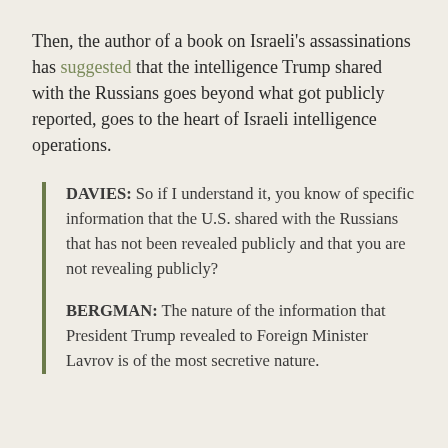Then, the author of a book on Israeli's assassinations has suggested that the intelligence Trump shared with the Russians goes beyond what got publicly reported, goes to the heart of Israeli intelligence operations.
DAVIES: So if I understand it, you know of specific information that the U.S. shared with the Russians that has not been revealed publicly and that you are not revealing publicly?
BERGMAN: The nature of the information that President Trump revealed to Foreign Minister Lavrov is of the most secretive nature.